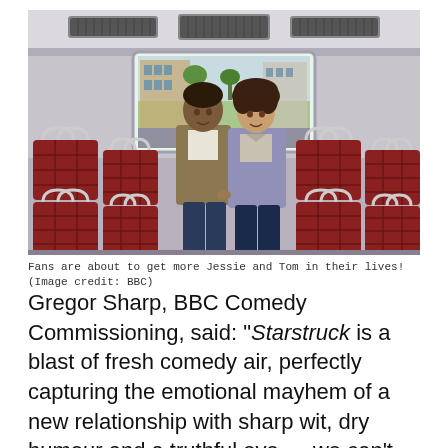[Figure (photo): Two people, a man and a woman, sitting together on the upper deck of a London double-decker bus with red tartan seats. The bus is empty except for them. They are centered in the frame, visible through the rear window which shows a city street outside.]
Fans are about to get more Jessie and Tom in their lives! (Image credit: BBC)
Gregor Sharp, BBC Comedy Commissioning, said: "Starstruck is a blast of fresh comedy air, perfectly capturing the emotional mayhem of a new relationship with sharp wit, dry humour and a truthful eye — we can't wait to see what Rose and the team